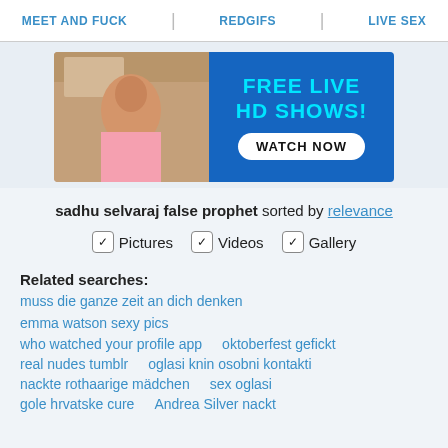MEET AND FUCK | REDGIFS | LIVE SEX
[Figure (photo): Banner advertisement showing a woman and text FREE LIVE HD SHOWS! WATCH NOW]
sadhu selvaraj false prophet sorted by relevance
✓ Pictures  ✓ Videos  ✓ Gallery
Related searches:
muss die ganze zeit an dich denken
emma watson sexy pics
who watched your profile app    oktoberfest gefickt
real nudes tumblr    oglasi knin osobni kontakti
nackte rothaarige mädchen    sex oglasi
gole hrvatske cure    Andrea Silver nackt